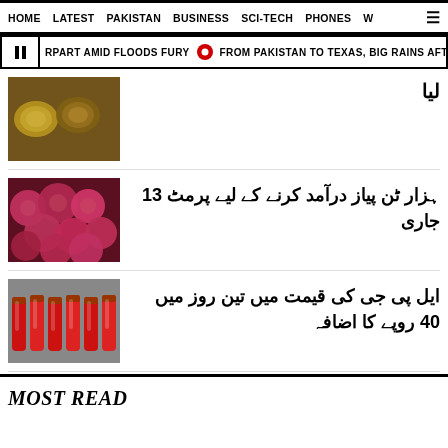HOME  LATEST  PAKISTAN  BUSINESS  SCI-TECH  PHONES  W  ☰
RPART AMID FLOODS FURY  •  FROM PAKISTAN TO TEXAS, BIG RAINS AFTER EXTRE
[Figure (photo): Bowl of spices/grains market]
لیا
[Figure (photo): Pile of red onions]
ہزار ٹن پیاز درآمد کرنے کے لیے پرمٹ 13 جاری
[Figure (photo): LPG gas cylinders stacked]
ایل پی جی کی قیمت میں تین روز میں 40 روپے کا اضافہ
MOST READ